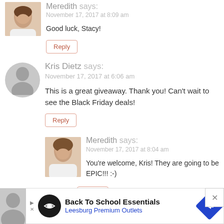[Figure (photo): Meredith profile photo, top-cropped woman with brown hair]
Meredith says:
November 17, 2017 at 8:09 am
Good luck, Stacy!
Reply
[Figure (illustration): Generic grey silhouette avatar placeholder for Kris Dietz]
Kris Dietz says:
November 17, 2017 at 6:06 am
This is a great giveaway. Thank you! Can't wait to see the Black Friday deals!
Reply
[Figure (photo): Meredith profile photo, woman with brown hair]
Meredith says:
November 17, 2017 at 8:04 am
You're welcome, Kris! They are going to be EPIC!!! :-)
Reply
[Figure (illustration): Generic grey silhouette avatar placeholder (bottom, partially visible)]
[Figure (infographic): Advertisement banner: Back To School Essentials - Leesburg Premium Outlets]